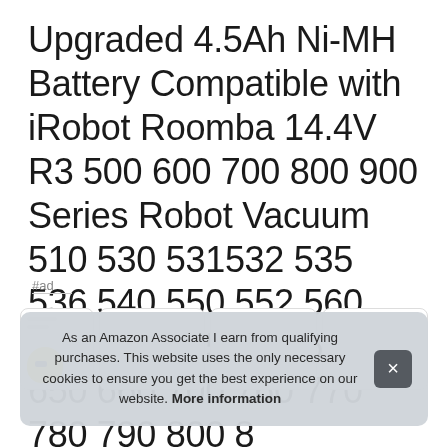Upgraded 4.5Ah Ni-MH Battery Compatible with iRobot Roomba 14.4V R3 500 600 700 800 900 Series Robot Vacuum 510 530 531532 535 536 540 550 552 560 570 580 595 600 620 650 660 700 760 770 780 790 800 8
#ad
As an Amazon Associate I earn from qualifying purchases. This website uses the only necessary cookies to ensure you get the best experience on our website. More information